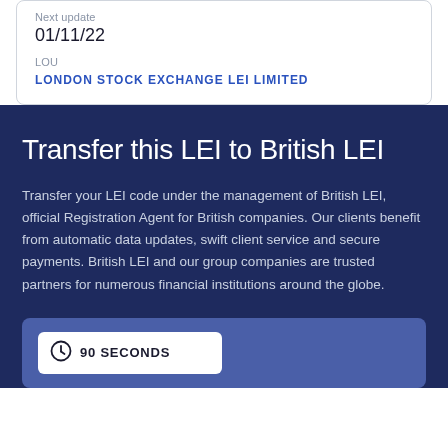Next update
01/11/22
LOU
LONDON STOCK EXCHANGE LEI LIMITED
Transfer this LEI to British LEI
Transfer your LEI code under the management of British LEI, official Registration Agent for British companies. Our clients benefit from automatic data updates, swift client service and secure payments. British LEI and our group companies are trusted partners for numerous financial institutions around the globe.
90 SECONDS